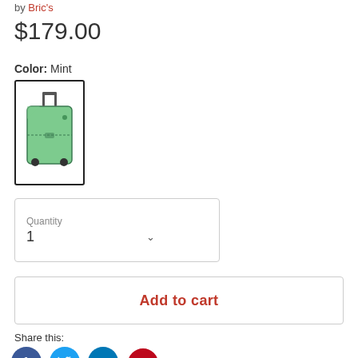by Bric's
$179.00
Color: Mint
[Figure (photo): Mint green hardshell suitcase with retractable handle and wheels, shown as a product thumbnail with a dark border/selection indicator]
Quantity
1
Add to cart
Share this:
[Figure (infographic): Social media sharing icons: Facebook (blue circle with f), Twitter (light blue circle with bird), LinkedIn (blue circle with in), Pinterest (dark red circle with P)]